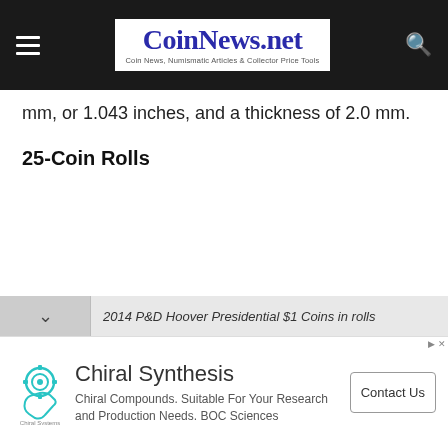CoinNews.net — Coin News, Numismatic Articles & Collector Price Tools
mm, or 1.043 inches, and a thickness of 2.0 mm.
25-Coin Rolls
2014 P&D Hoover Presidential $1 Coins in rolls
[Figure (other): Advertisement for Chiral Synthesis — Chiral Compounds. Suitable For Your Research and Production Needs. BOC Sciences. Contact Us button.]